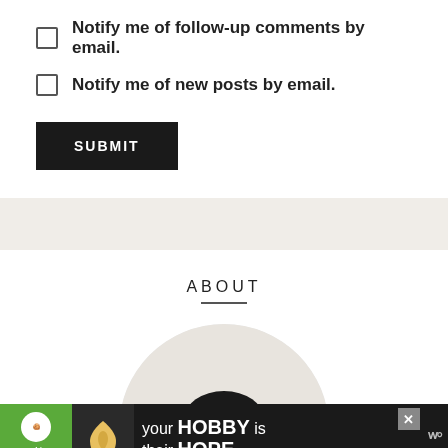Notify me of follow-up comments by email.
Notify me of new posts by email.
SUBMIT
ABOUT
[Figure (photo): Circular portrait photo of a man with short dark hair holding a heart-shaped cookie, on a white background]
[Figure (infographic): Advertisement banner: cookies for kid cancer logo, image of heart-shaped cookie, text 'your HOBBY is their HOPE', close button, and W logo]